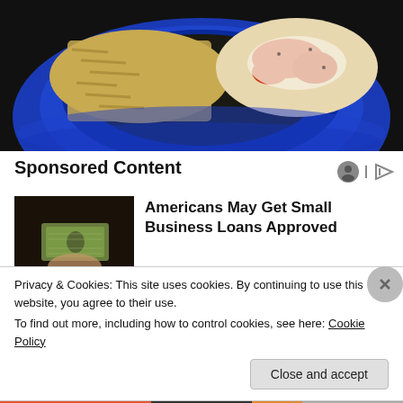[Figure (photo): Food photo showing penne pasta and chicken parmesan with tomato sauce and melted cheese on a blue plate]
Sponsored Content
[Figure (photo): Person holding US dollar bills / money]
Americans May Get Small Business Loans Approved
Privacy & Cookies: This site uses cookies. By continuing to use this website, you agree to their use.
To find out more, including how to control cookies, see here: Cookie Policy